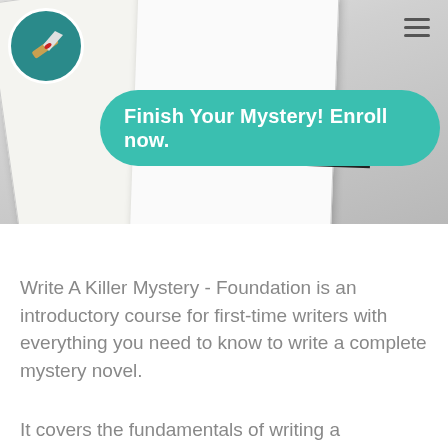[Figure (screenshot): Hero banner showing an open notebook/book on a gray background with a circular teal logo featuring a knife icon in the top-left, a hamburger menu icon in the top-right, and a teal pill-shaped call-to-action button reading 'Finish Your Mystery! Enroll now.']
Write A Killer Mystery - Foundation is an introductory course for first-time writers with everything you need to know to write a complete mystery novel.
(partial text cut off at bottom)